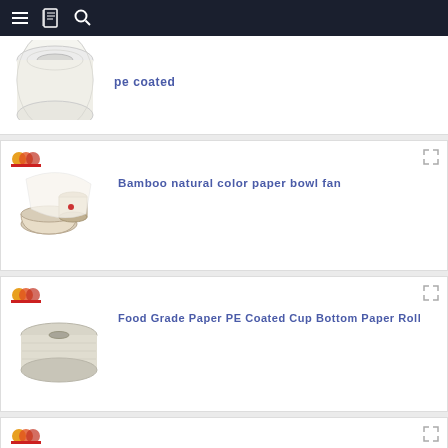Navigation bar with menu, book, and search icons
pe coated
[Figure (photo): White paper roll product photo]
Bamboo natural color paper bowl fan
[Figure (photo): Bamboo natural color paper bowl fan product photo showing bowl components]
Food Grade Paper PE Coated Cup Bottom Paper Roll
[Figure (photo): Food grade PE coated cup bottom paper roll product photo]
Yibin paper cup material for making paper cup paper bowl
[Figure (photo): Brown paper cup material fan sheets product photo]
[Figure (photo): Partial view of another product card at bottom]